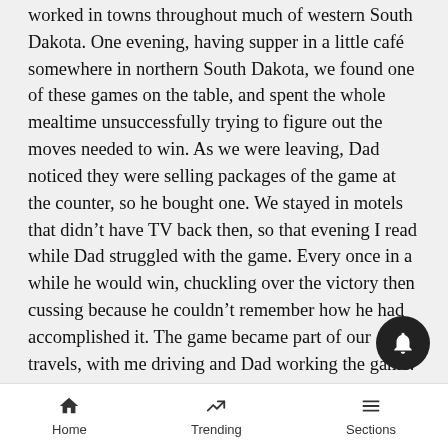worked in towns throughout much of western South Dakota. One evening, having supper in a little café somewhere in northern South Dakota, we found one of these games on the table, and spent the whole mealtime unsuccessfully trying to figure out the moves needed to win. As we were leaving, Dad noticed they were selling packages of the game at the counter, so he bought one. We stayed in motels that didn't have TV back then, so that evening I read while Dad struggled with the game. Every once in a while he would win, chuckling over the victory then cussing because he couldn't remember how he had accomplished it. The game became part of our travels, with me driving and Dad working the game.
When Dad retired from selling and started making saddles, the game was on his end table or in his
Home  Trending  Sections